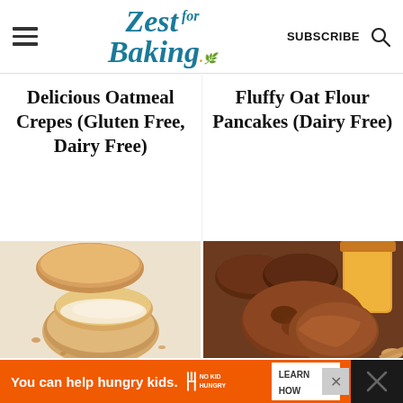Zest for Baking — SUBSCRIBE
Delicious Oatmeal Crepes (Gluten Free, Dairy Free)
Fluffy Oat Flour Pancakes (Dairy Free)
[Figure (photo): Baked biscuits/scones on parchment paper, one split open showing soft interior]
[Figure (photo): Bran muffins with a jar of honey in the background and a wooden spoon]
You can help hungry kids. NO KID HUNGRY LEARN HOW